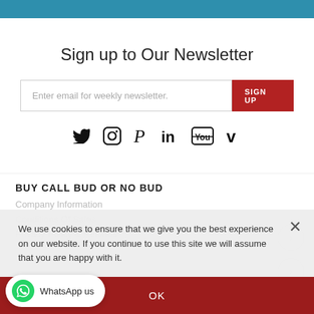Sign up to Our Newsletter
Enter email for weekly newsletter.
[Figure (infographic): Social media icons: Twitter, Instagram, Pinterest, LinkedIn, YouTube, Vimeo]
BUY CALL BUD OR NO BUD
Company Information
Conditions Of Sales
Privacy Policy & Refunds
We use cookies to ensure that we give you the best experience on our website. If you continue to use this site we will assume that you are happy with it.
OK
WhatsApp us